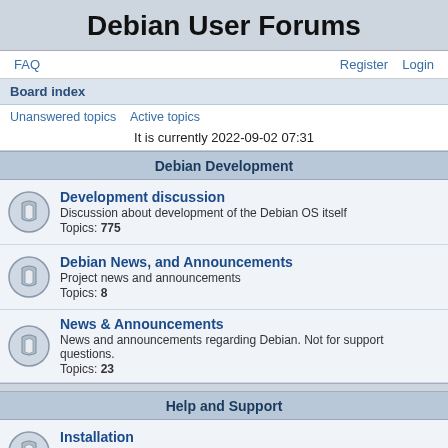Debian User Forums
FAQ | Register | Login
Board index
Unanswered topics  Active topics
It is currently 2022-09-02 07:31
Debian Development
Development discussion
Discussion about development of the Debian OS itself
Topics: 775
Debian News, and Announcements
Project news and announcements
Topics: 8
News & Announcements
News and announcements regarding Debian. Not for support questions.
Topics: 23
Help and Support
Installation
Help with issues regarding installation of Debian
Topics: 11250
Beginners Questions
New to Debian (Or Linux in general)? Ask your questions here!
Topics: 9278
General Questions